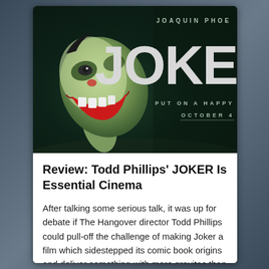[Figure (photo): Joker movie poster showing Joaquin Phoenix as the Joker with face paint, looking upward with mouth open, and text 'JOAQUIN PHOE', 'JOKE', 'PUT ON A HAPPY', 'OCTOBER 4' on dark green/teal background]
Review: Todd Phillips' JOKER Is Essential Cinema
After talking some serious talk, it was up for debate if The Hangover director Todd Phillips could pull-off the challenge of making Joker a film which sidestepped its comic book origins and deliver something with more gravitas than your usual [...]